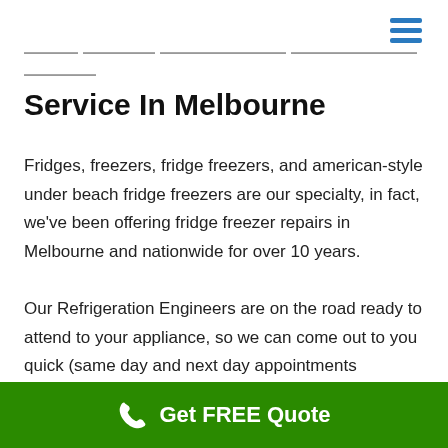Service In Melbourne
Fridges, freezers, fridge freezers, and american-style under beach fridge freezers are our specialty, in fact, we've been offering fridge freezer repairs in Melbourne and nationwide for over 10 years.
Our Refrigeration Engineers are on the road ready to attend to your appliance, so we can come out to you quick (same day and next day appointments available!).
Value For Money
Get FREE Quote